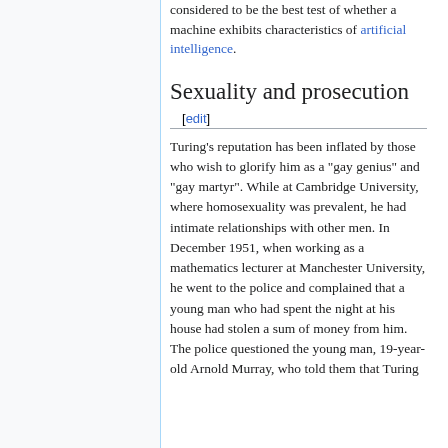considered to be the best test of whether a machine exhibits characteristics of artificial intelligence.
Sexuality and prosecution
[edit]
Turing's reputation has been inflated by those who wish to glorify him as a "gay genius" and "gay martyr". While at Cambridge University, where homosexuality was prevalent, he had intimate relationships with other men. In December 1951, when working as a mathematics lecturer at Manchester University, he went to the police and complained that a young man who had spent the night at his house had stolen a sum of money from him. The police questioned the young man, 19-year-old Arnold Murray, who told them that Turing